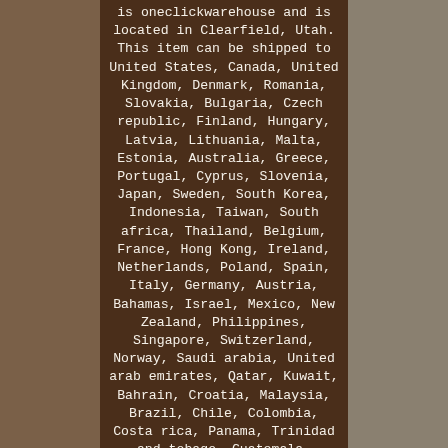is oneclickwarehouse and is located in Clearfield, Utah. This item can be shipped to United States, Canada, United Kingdom, Denmark, Romania, Slovakia, Bulgaria, Czech republic, Finland, Hungary, Latvia, Lithuania, Malta, Estonia, Australia, Greece, Portugal, Cyprus, Slovenia, Japan, Sweden, South Korea, Indonesia, Taiwan, South africa, Thailand, Belgium, France, Hong Kong, Ireland, Netherlands, Poland, Spain, Italy, Germany, Austria, Bahamas, Israel, Mexico, New Zealand, Philippines, Singapore, Switzerland, Norway, Saudi arabia, United arab emirates, Qatar, Kuwait, Bahrain, Croatia, Malaysia, Brazil, Chile, Colombia, Costa rica, Panama, Trinidad and tobago, Guatemala,